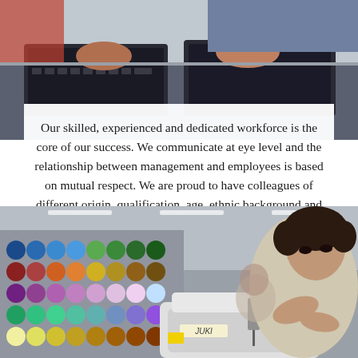[Figure (photo): Photo of people working at computers/laptops in an office environment, viewed from above/side angle]
Our skilled, experienced and dedicated workforce is the core of our success. We communicate at eye level and the relationship between management and employees is based on mutual respect. We are proud to have colleagues of different origin, qualification, age, ethnic background and religion.
[Figure (photo): Photo of a woman working at a JUKI sewing machine in a textile factory, with colorful thread spools visible in the background]